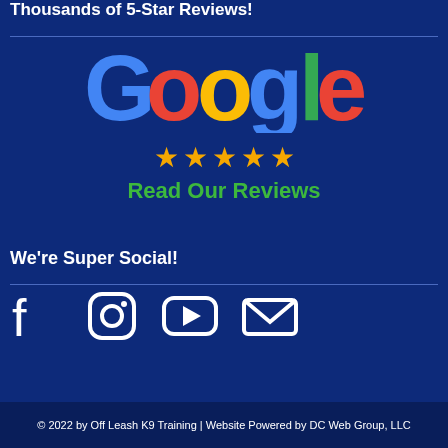Thousands of 5-Star Reviews!
[Figure (logo): Google logo with colorful letters in blue, red, yellow, blue, green, red]
[Figure (other): Five gold stars and green text 'Read Our Reviews']
We're Super Social!
[Figure (other): Social media icons: Facebook, Instagram, YouTube, Email]
© 2022 by Off Leash K9 Training | Website Powered by DC Web Group, LLC